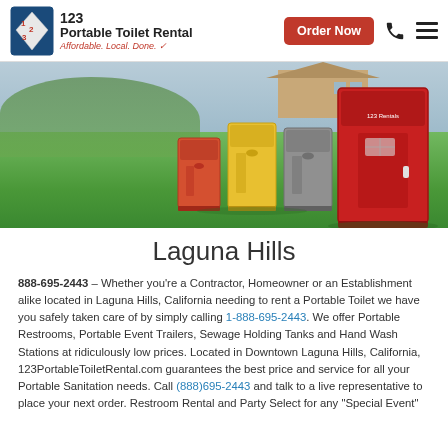123 Portable Toilet Rental — Affordable. Local. Done.
[Figure (photo): Hero banner showing colorful portable toilets (orange, yellow, gray, red) standing on a green lawn with a house in the background]
Laguna Hills
888-695-2443 – Whether you're a Contractor, Homeowner or an Establishment alike located in Laguna Hills, California needing to rent a Portable Toilet we have you safely taken care of by simply calling 1-888-695-2443. We offer Portable Restrooms, Portable Event Trailers, Sewage Holding Tanks and Hand Wash Stations at ridiculously low prices. Located in Downtown Laguna Hills, California, 123PortableToiletRental.com guarantees the best price and service for all your Portable Sanitation needs. Call (888)695-2443 and talk to a live representative to place your next order. Restroom Rental and Party Select for any "Special Event"